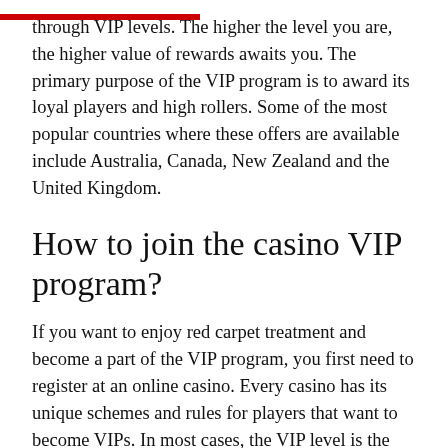through VIP levels. The higher the level you are, the higher value of rewards awaits you. The primary purpose of the VIP program is to award its loyal players and high rollers. Some of the most popular countries where these offers are available include Australia, Canada, New Zealand and the United Kingdom.
How to join the casino VIP program?
If you want to enjoy red carpet treatment and become a part of the VIP program, you first need to register at an online casino. Every casino has its unique schemes and rules for players that want to become VIPs. In most cases, the VIP level is the last level on the loyalty program.